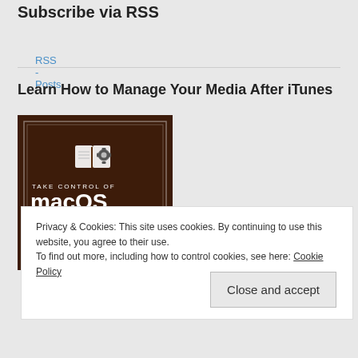Subscribe via RSS
RSS - Posts
Learn How to Manage Your Media After iTunes
[Figure (illustration): Book cover for 'Take Control of macOS Media Apps' showing an open book icon with gears on a dark brown background with white text.]
Privacy & Cookies: This site uses cookies. By continuing to use this website, you agree to their use.
To find out more, including how to control cookies, see here: Cookie Policy
Close and accept